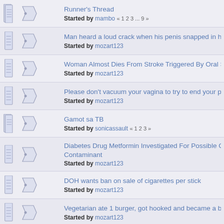Runner's Thread — Started by mambo « 1 2 3 ... 9 »
Man heard a loud crack when his penis snapped in half during sex — Started by mozart123
Woman Almost Dies From Stroke Triggered By Oral Sex — Started by mozart123
Please don't vacuum your vagina to try to end your period faster — Started by mozart123
Gamot sa TB — Started by sonicassault « 1 2 3 »
Diabetes Drug Metformin Investigated For Possible Cancer-Causing Contaminant — Started by mozart123
DOH wants ban on sale of cigarettes per stick — Started by mozart123
Vegetarian ate 1 burger, got hooked and became a butcher — Started by mozart123
Asbestos discovery triggers Johnson & Johnson baby powder reca... US